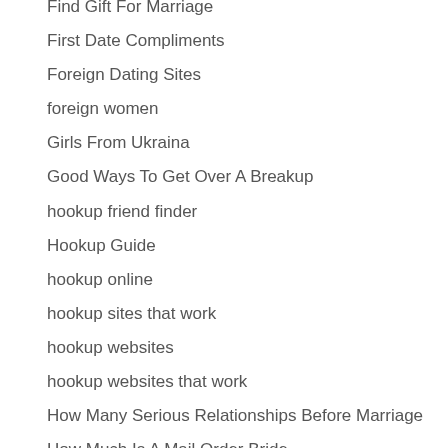Find Gift For Marriage
First Date Compliments
Foreign Dating Sites
foreign women
Girls From Ukraina
Good Ways To Get Over A Breakup
hookup friend finder
Hookup Guide
hookup online
hookup sites that work
hookup websites
hookup websites that work
How Many Serious Relationships Before Marriage
How Much Is A Mail Order Bride